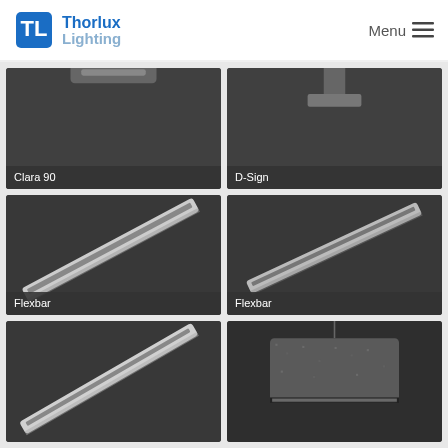Thorlux Lighting — Menu
[Figure (photo): Thorlux Lighting logo with blue TL icon and stylized text]
[Figure (photo): Product card partially visible — Clara 90 lighting fixture, dark background]
Clara 90
[Figure (photo): Product card partially visible — D-Sign lighting fixture, dark background]
D-Sign
[Figure (photo): Flexbar linear LED luminaire on dark background, diagonal orientation]
Flexbar
[Figure (photo): Flexbar linear LED luminaire on dark background, diagonal orientation, alternate finish]
Flexbar
[Figure (photo): Linear LED fixture on dark background, partially visible at bottom of page]
[Figure (photo): Pendant acoustic lighting fixture on dark background, partially visible at bottom of page]